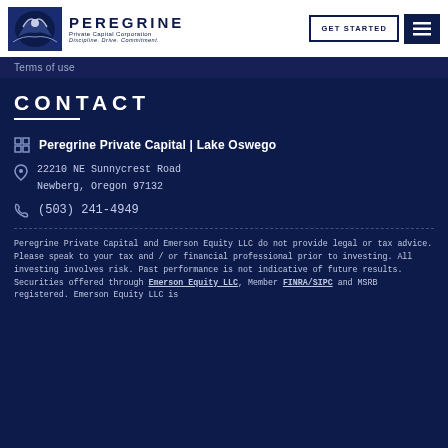Peregrine Private Capital Corporation — GET STARTED | menu
Terms of use
CONTACT
Peregrine Private Capital | Lake Oswego
22210 NE Sunnycrest Road
Newberg, Oregon 97132
(503) 241-4949
Peregrine Private Capital and Emerson Equity LLC do not provide legal or tax advice. Please speak to your tax and / or financial professional prior to investing. All investing involves risk. Past performance is not indicative of future results. Securities offered through Emerson Equity LLC, Member FINRA/SIPC and MSRB registered. Emerson Equity LLC is